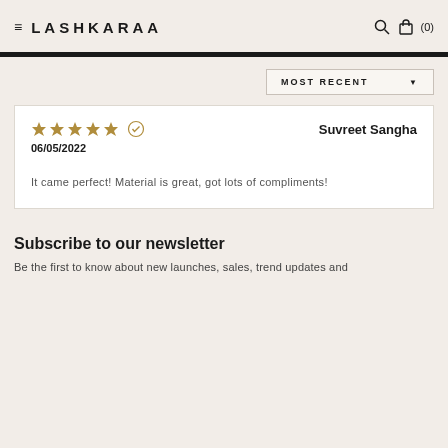LASHKARAA (0)
MOST RECENT ▼
★★★★★ ✓ Suvreet Sangha
06/05/2022

It came perfect! Material is great, got lots of compliments!
Subscribe to our newsletter
Be the first to know about new launches, sales, trend updates and